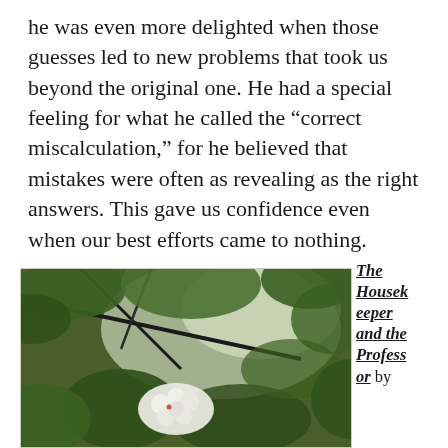he was even more delighted when those guesses led to new problems that took us beyond the original one. He had a special feeling for what he called the “correct miscalculation,” for he believed that mistakes were often as revealing as the right answers. This gave us confidence even when our best efforts came to nothing.
[Figure (photo): A close-up photograph of white flowering blossoms surrounded by green leaves and dark branches, with a blurred background suggesting an outdoor garden or park setting.]
The Housekeeper and the Professor by